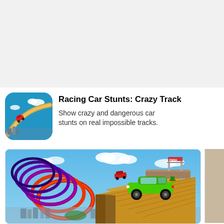[Figure (screenshot): App store listing screenshot showing app icon, title, and description for Racing Car Stunts: Crazy Track]
Racing Car Stunts: Crazy Track
Show crazy and dangerous car stunts on real impossible tracks.
[Figure (screenshot): Game screenshot showing a green sports car on a tall wooden ramp high above a city, with colorful loop tunnels on the left and a platform tower on the right, blue sky background]